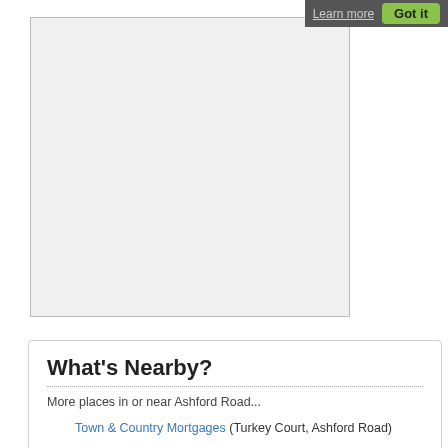[Figure (screenshot): Map placeholder box (Google Maps or similar embedded map)]
What's Nearby?
More places in or near Ashford Road...
Town & Country Mortgages (Turkey Court, Ashford Road)
Town & Country Services (The Weighbridge Turkey Mill, Ashford Road)
Vekso Street Design Ltd (Bedroom furniture shop at 15 Hollingworth Court, Ashford Road)
In-Victor Chartered Surveyors (Surveyor at Brook House, Ashford